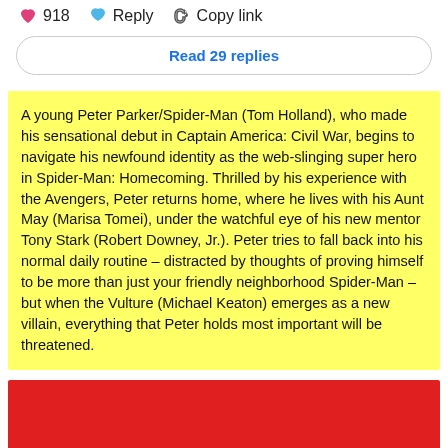918   Reply   Copy link
Read 29 replies
A young Peter Parker/Spider-Man (Tom Holland), who made his sensational debut in Captain America: Civil War, begins to navigate his newfound identity as the web-slinging super hero in Spider-Man: Homecoming. Thrilled by his experience with the Avengers, Peter returns home, where he lives with his Aunt May (Marisa Tomei), under the watchful eye of his new mentor Tony Stark (Robert Downey, Jr.). Peter tries to fall back into his normal daily routine – distracted by thoughts of proving himself to be more than just your friendly neighborhood Spider-Man – but when the Vulture (Michael Keaton) emerges as a new villain, everything that Peter holds most important will be threatened.
[Figure (other): Red rectangle/image block at the bottom of the page]